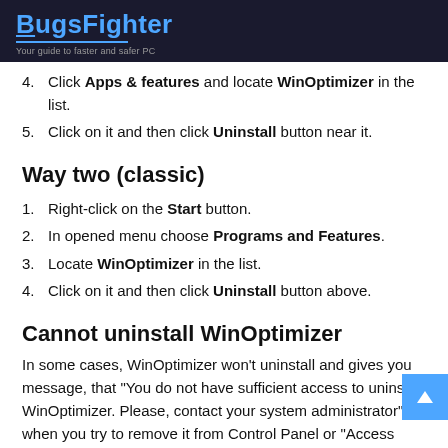BugsFighter — Your guide to faster and safer PC
4. Click Apps & features and locate WinOptimizer in the list.
5. Click on it and then click Uninstall button near it.
Way two (classic)
1. Right-click on the Start button.
2. In opened menu choose Programs and Features.
3. Locate WinOptimizer in the list.
4. Click on it and then click Uninstall button above.
Cannot uninstall WinOptimizer
In some cases, WinOptimizer won't uninstall and gives you message, that "You do not have sufficient access to uninstall WinOptimizer. Please, contact your system administrator" when you try to remove it from Control Panel or "Access denied" or other error when WinOptimizer deletes its fi...